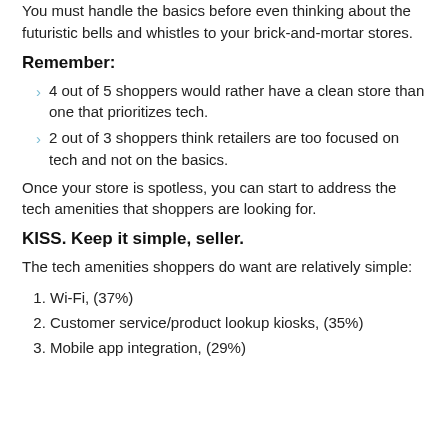You must handle the basics before even thinking about the futuristic bells and whistles to your brick-and-mortar stores.
Remember:
4 out of 5 shoppers would rather have a clean store than one that prioritizes tech.
2 out of 3 shoppers think retailers are too focused on tech and not on the basics.
Once your store is spotless, you can start to address the tech amenities that shoppers are looking for.
KISS. Keep it simple, seller.
The tech amenities shoppers do want are relatively simple:
Wi-Fi, (37%)
Customer service/product lookup kiosks, (35%)
Mobile app integration, (29%)